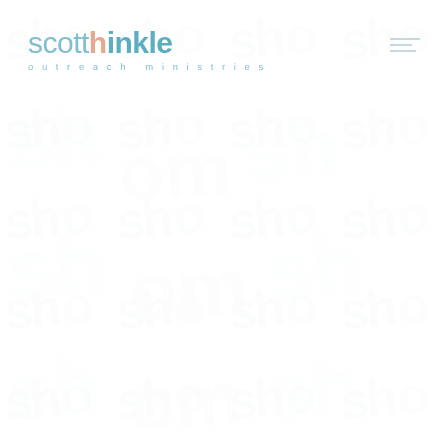[Figure (logo): Scott Thinkle Outreach Ministries logo. Text reads 'scott' in light blue/grey, 'h' in salmon/orange, 'inkle' in teal blue. Below in spaced lettering: 'outreach ministries'. To the right is a hamburger menu icon with three horizontal lines of varying widths. The background is filled with a very faint watermark pattern repeating the logo/brand mark tiled across the full page.]